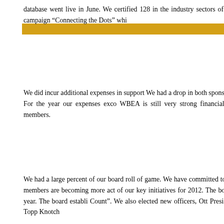[Figure (other): Gold/yellow horizontal decorative bar on left side of page]
database went live in June. We certified 128 in the industry sectors of service, transport media campaign “Connecting the Dots” whi
We did incur additional expenses in support We had a drop in both sponsorship and at negatively. For the year our expenses exco WBEA is still very strong financially with a present board members.
We had a large percent of our board roll of game. We have committed to monthly boar our board members are becoming more act of our key initiatives for 2012. The board h least 2-3 times per year. The board establi Count”. We also elected new officers, Ott President and Diedria Joseph, Topp Knotch
Survey Results
As promised I wanted to report back to you. the 4th quarter of 2011.